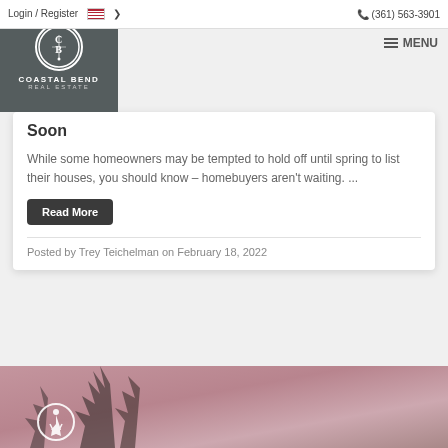Login / Register  🇺🇸 ▾   📞 (361) 563-3901
[Figure (logo): Coastal Bend Real Estate logo — dark grey square with circular emblem containing 'C|B' lettering and company name]
≡ MENU
Soon
While some homeowners may be tempted to hold off until spring to list their houses, you should know – homebuyers aren't waiting. ...
Read More
Posted by Trey Teichelman on February 18, 2022
[Figure (photo): Outdoor winter photograph showing bare tree branches silhouetted against a pink and grey sky at dusk]